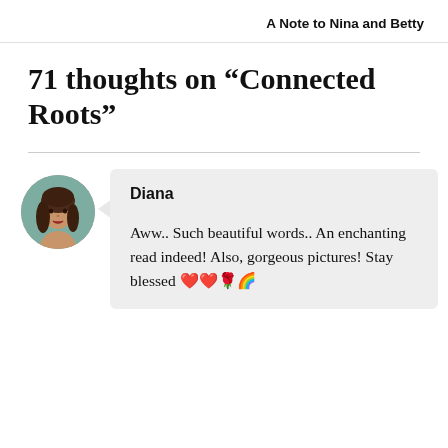A Note to Nina and Betty
71 thoughts on “Connected Roots”
[Figure (photo): Circular avatar photo of a woman with long brown hair against a teal/green background]
Diana
Aww.. Such beautiful words.. An enchanting read indeed! Also, gorgeous pictures! Stay blessed ❤️❤️🌹🌈